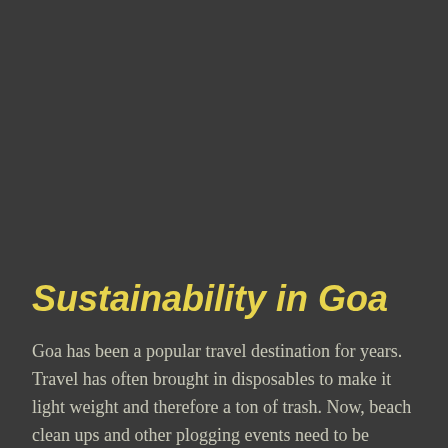Sustainability in Goa
Goa has been a popular travel destination for years. Travel has often brought in disposables to make it light weight and therefore a ton of trash. Now, beach clean ups and other plogging events need to be resorted to clean those up. To avoid being dependent on such events in the future, it is very important for this touristy state to